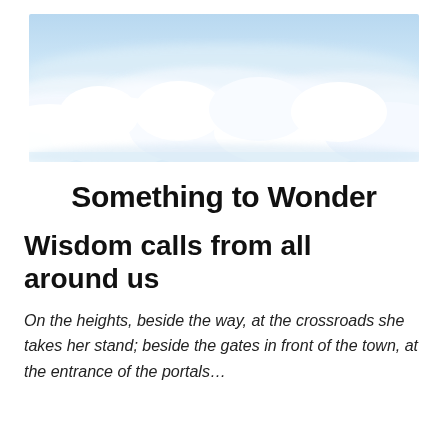[Figure (photo): Aerial view of clouds from above, blue sky and white fluffy clouds stretching across the horizon.]
Something to Wonder
Wisdom calls from all around us
On the heights, beside the way, at the crossroads she takes her stand; beside the gates in front of the town, at the entrance of the portals…